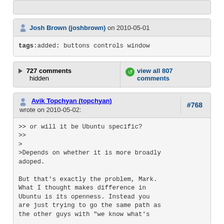tags:added: buttons controls window
727 comments hidden
view all 807 comments
Avik Topchyan (topchyan) wrote on 2010-05-02: #768
>> or will it be Ubuntu specific?
>>
>
>Depends on whether it is more broadly adoped.

But that's exactly the problem, Mark. What I thought makes difference in Ubuntu is its openness. Instead you are just trying to go the same path as the other guys with "we know what's